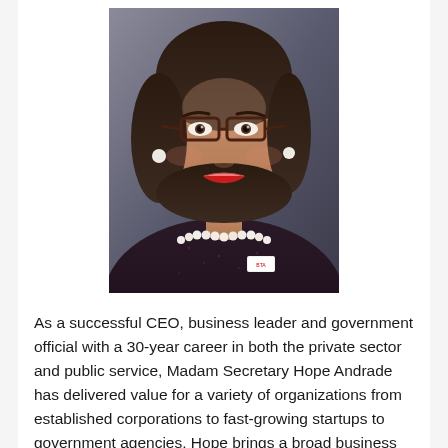[Figure (photo): Professional headshot portrait of Madam Secretary Hope Andrade, a woman with dark hair and glasses, wearing a dark patterned jacket and pearl necklace, smiling.]
As a successful CEO, business leader and government official with a 30-year career in both the private sector and public service, Madam Secretary Hope Andrade has delivered value for a variety of organizations from established corporations to fast-growing startups to government agencies. Hope brings a broad business perspective with particular expertise in healthcare, transportation, workforce and economic development